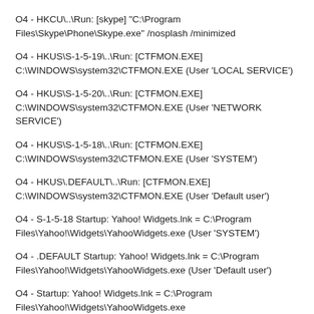O4 - HKCU\..\ Run: [skype] "C:\Program Files\Skype\Phone\Skype.exe" /nosplash /minimized
O4 - HKUS\S-1-5-19\..\ Run: [CTFMON.EXE] C:\WINDOWS\system32\CTFMON.EXE (User 'LOCAL SERVICE')
O4 - HKUS\S-1-5-20\..\ Run: [CTFMON.EXE] C:\WINDOWS\system32\CTFMON.EXE (User 'NETWORK SERVICE')
O4 - HKUS\S-1-5-18\..\ Run: [CTFMON.EXE] C:\WINDOWS\system32\CTFMON.EXE (User 'SYSTEM')
O4 - HKUS\.DEFAULT\..\ Run: [CTFMON.EXE] C:\WINDOWS\system32\CTFMON.EXE (User 'Default user')
O4 - S-1-5-18 Startup: Yahoo! Widgets.lnk = C:\Program Files\Yahoo!\Widgets\YahooWidgets.exe (User 'SYSTEM')
O4 - .DEFAULT Startup: Yahoo! Widgets.lnk = C:\Program Files\Yahoo!\Widgets\YahooWidgets.exe (User 'Default user')
O4 - Startup: Yahoo! Widgets.lnk = C:\Program Files\Yahoo!\Widgets\YahooWidgets.exe